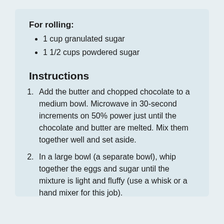For rolling:
1 cup granulated sugar
1 1/2 cups powdered sugar
Instructions
Add the butter and chopped chocolate to a medium bowl. Microwave in 30-second increments on 50% power just until the chocolate and butter are melted. Mix them together well and set aside.
In a large bowl (a separate bowl), whip together the eggs and sugar until the mixture is light and fluffy (use a whisk or a hand mixer for this job).